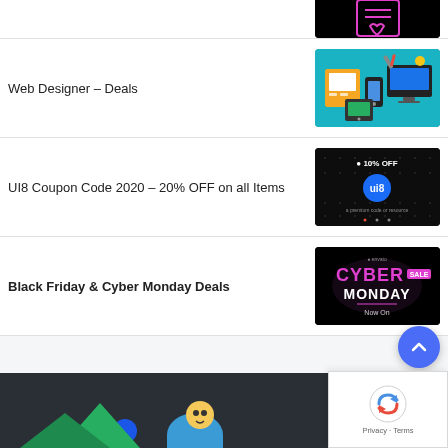[Figure (screenshot): Partial thumbnail of a dark/black image with a pink document-heart icon, cut off at top]
Web Designer – Deals
[Figure (screenshot): Thumbnail showing web design tools on teal/cyan background with devices and icons]
UI8 Coupon Code 2020 – 20% OFF on all Items
[Figure (screenshot): Dark thumbnail with UI8 logo and '10% OFF' text on black background]
Black Friday & Cyber Monday Deals
[Figure (screenshot): Cyber Monday deals banner with neon pink/magenta text on black background, reading CYBER MONDAY, Now On]
[Figure (screenshot): Partial dark banner at bottom of page with colorful character illustrations]
Privacy · Terms